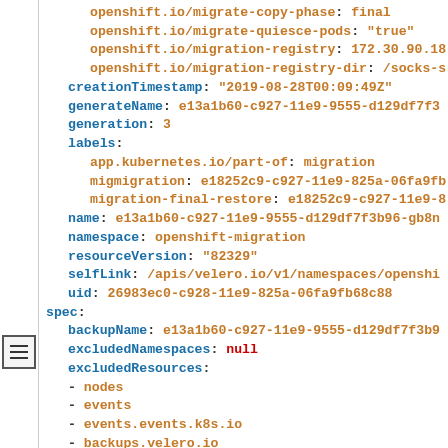Code block showing Kubernetes/OpenShift migration YAML configuration including annotations, metadata fields (creationTimestamp, generateName, generation, labels, name, namespace, resourceVersion, selfLink, uid), and spec fields (backupName, excludedNamespaces, excludedResources list with nodes, events, events.events.k8s.io, backups.velero.io)